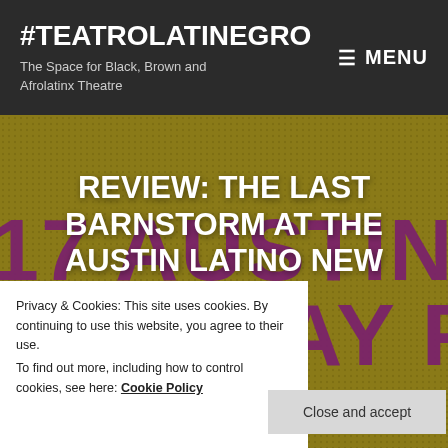#TEATROLATINEGRO
The Space for Black, Brown and Afrolatinx Theatre
MENU
[Figure (illustration): Hero image with golden/olive background showing text fragments of '2017 AUSTIN LATI...' and 'NEW PLAY FESTIVA...' in large purple letters with a halftone/texture effect]
REVIEW: THE LAST BARNSTORM AT THE AUSTIN LATINO NEW PLAY...
Privacy & Cookies: This site uses cookies. By continuing to use this website, you agree to their use.
To find out more, including how to control cookies, see here: Cookie Policy
Close and accept